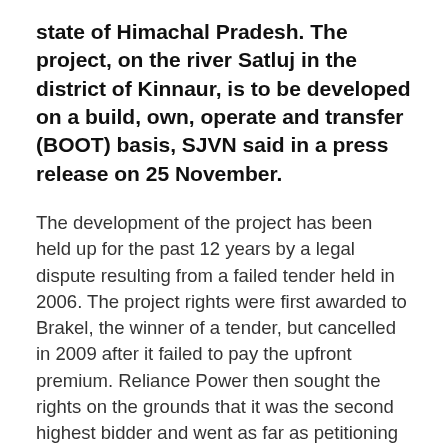state of Himachal Pradesh. The project, on the river Satluj in the district of Kinnaur, is to be developed on a build, own, operate and transfer (BOOT) basis, SJVN said in a press release on 25 November.
The development of the project has been held up for the past 12 years by a legal dispute resulting from a failed tender held in 2006. The project rights were first awarded to Brakel, the winner of a tender, but cancelled in 2009 after it failed to pay the upfront premium. Reliance Power then sought the rights on the grounds that it was the second highest bidder and went as far as petitioning the Supreme Court. In August 2016 it was allotted the rights but then declined to take up the offer.
SJVN, a joint venture between the central Government